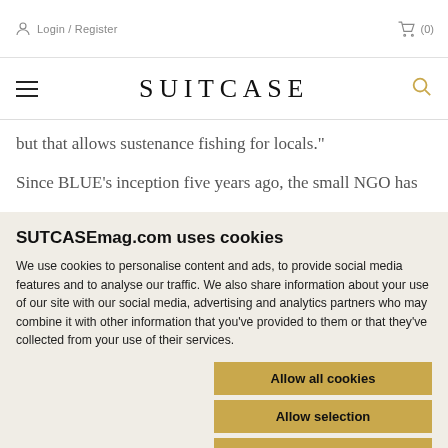Login / Register   (0)
SUITCASE
but that allows sustenance fishing for locals."
Since BLUE's inception five years ago, the small NGO has
SUTCASEmag.com uses cookies
We use cookies to personalise content and ads, to provide social media features and to analyse our traffic. We also share information about your use of our site with our social media, advertising and analytics partners who may combine it with other information that you've provided to them or that they've collected from your use of their services.
Allow all cookies
Allow selection
Use necessary cookies only
Necessary   Preferences   Statistics   Marketing   Show details